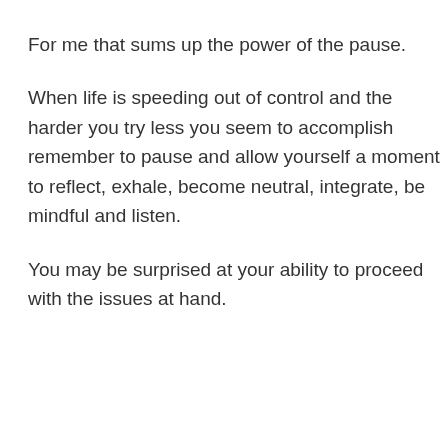For me that sums up the power of the pause.
When life is speeding out of control and the harder you try less you seem to accomplish remember to pause and allow yourself a moment to reflect, exhale, become neutral, integrate, be mindful and listen.
You may be surprised at your ability to proceed with the issues at hand.